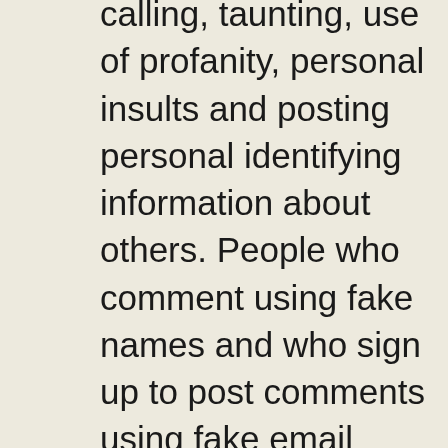calling, taunting, use of profanity, personal insults and posting personal identifying information about others. People who comment using fake names and who sign up to post comments using fake email addresses and repeatedly post known false information will be marked as spammers and have their comments removed. ***Any comments that claim, infer or allude that there was widespread election fraud in the 2020 election will be immediately